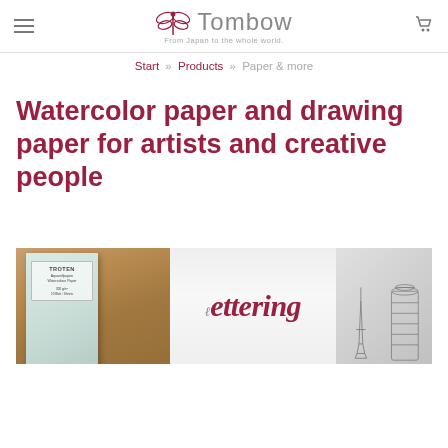Tombow — From Japan to the whole world.
Start » Products » Paper & more
Watercolor paper and drawing paper for artists and creative people
[Figure (photo): Hero banner image showing a Tombow TROTEN watercolor paper pad on a wooden table surface on the left, the word 'lettering' written in cursive dark red script in the center on white paper, and a pencil sketch of European landmarks (Eiffel Tower, Leaning Tower of Pisa) on the right.]